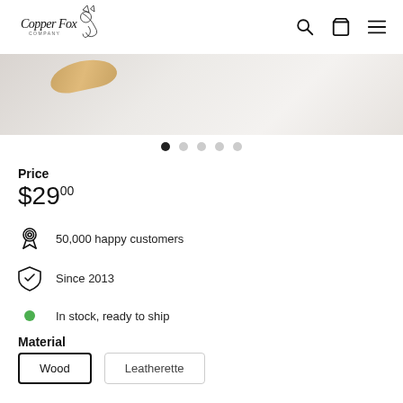Copper Fox Company — navigation header with search, cart, and menu icons
[Figure (photo): Close-up product photo showing a wooden spoon or board on a light marble/white background]
• (image carousel dots — 1 active, 4 inactive)
Price
$29.00
50,000 happy customers
Since 2013
In stock, ready to ship
Material
Wood | Leatherette